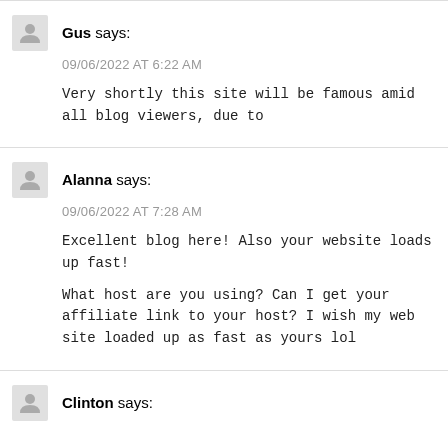Gus says:
09/06/2022 AT 6:22 AM
Very shortly this site will be famous amid all blog viewers, due to
Alanna says:
09/06/2022 AT 7:28 AM
Excellent blog here! Also your website loads up fast!
What host are you using? Can I get your affiliate link to your host? I wish my web site loaded up as fast as yours lol
Clinton says: